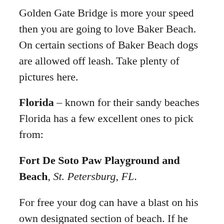Golden Gate Bridge is more your speed then you are going to love Baker Beach. On certain sections of Baker Beach dogs are allowed off leash. Take plenty of pictures here.
Florida – known for their sandy beaches Florida has a few excellent ones to pick from:
Fort De Soto Paw Playground and Beach, St. Petersburg, FL.
For free your dog can have a blast on his own designated section of beach. If he gets a little too much sand in his coat, no worries as showers are provided. Fresh water for your pup to drink is also available. And don't worry; there are plenty of things to keep Fido's human family busy at Fort De Soto too. Families are able to camp over night and explore historical sites. If you plan on staying over night, don't forget the tents, marshmallows and Fido's NuVet